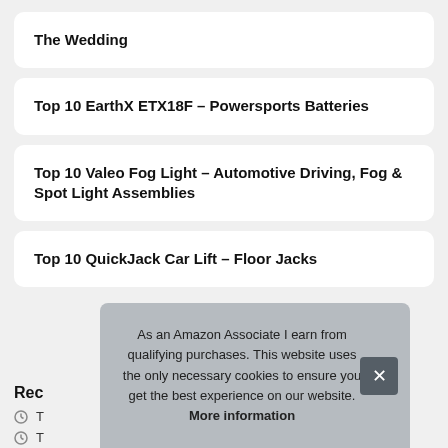The Wedding
Top 10 EarthX ETX18F – Powersports Batteries
Top 10 Valeo Fog Light – Automotive Driving, Fog & Spot Light Assemblies
Top 10 QuickJack Car Lift – Floor Jacks
Rec
As an Amazon Associate I earn from qualifying purchases. This website uses the only necessary cookies to ensure you get the best experience on our website. More information